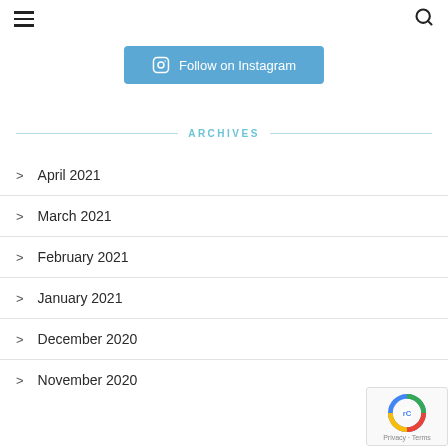≡  🔍
[Figure (other): Blue 'Follow on Instagram' button with Instagram camera icon]
ARCHIVES
April 2021
March 2021
February 2021
January 2021
December 2020
November 2020